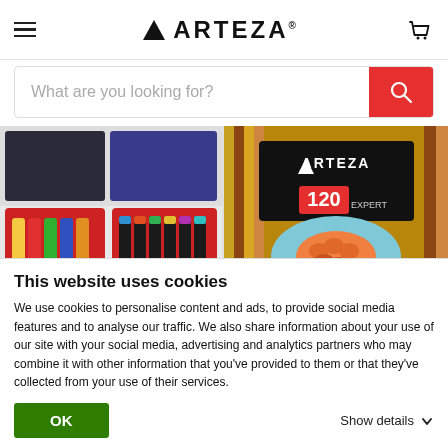[Figure (logo): Arteza brand logo with hamburger menu and cart icon in website header]
What are you looking for?
[Figure (photo): Acrylic Paint Set 22ml Tubes product image showing paint tubes in red tray]
Acrylic Paint Set, 22ml Tubes - Set of 24
[Figure (photo): Expert Watercolour Pencils Set of 120 in tin case showing Arteza branding]
Expert Watercolour Pencils - Set of 120
This website uses cookies
We use cookies to personalise content and ads, to provide social media features and to analyse our traffic. We also share information about your use of our site with your social media, advertising and analytics partners who may combine it with other information that you've provided to them or that they've collected from your use of their services.
OK
Show details